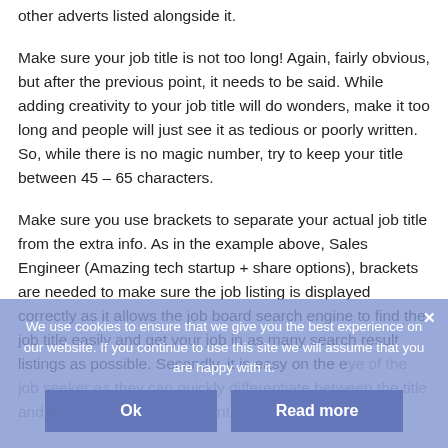other adverts listed alongside it.
Make sure your job title is not too long! Again, fairly obvious, but after the previous point, it needs to be said. While adding creativity to your job title will do wonders, make it too long and people will just see it as tedious or poorly written. So, while there is no magic number, try to keep your title between 45 – 65 characters.
Make sure you use brackets to separate your actual job title from the extra info. As in the example above, Sales Engineer (Amazing tech startup + share options), brackets are needed to make sure the job listing is displayed correctly as it allows the job board search engine to find the job title easily and get your job in as many search result listings as possible. Secondly, it is easy on the eye of the job seeker as they can quickly differentiate between the title and the extra juicy selling points.
We use cookies to ensure that we give you the best experience on our website. If you continue to use this site we will assume that you are happy with it.